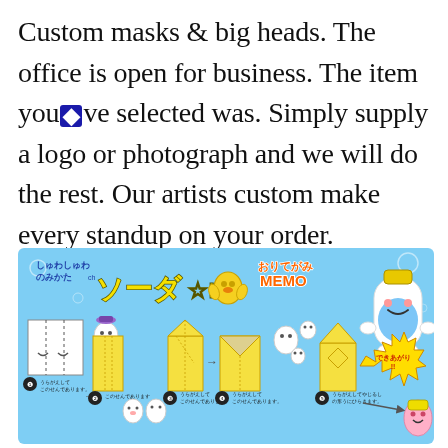Custom masks & big heads. The office is open for business. The item you◆ve selected was. Simply supply a logo or photograph and we will do the rest. Our artists custom make every standup on your order.
[Figure (illustration): A colorful Japanese kawaii-style origami memo pad instruction sheet with anime characters, showing folding steps for a soda bottle origami memo pad. Blue background with cute ghost/blob characters and yellow paper folding diagrams. Japanese text labels the steps.]